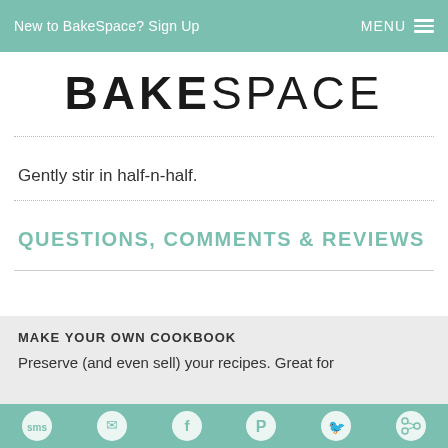New to BakeSpace? Sign Up    MENU
BAKESPACE
Gently stir in half-n-half.
QUESTIONS, COMMENTS & REVIEWS
MAKE YOUR OWN COOKBOOK
Preserve (and even sell) your recipes. Great for
sms email facebook pinterest twitter other